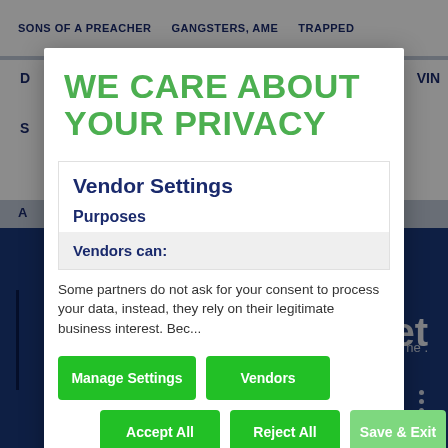[Figure (screenshot): Background website with dark blue sections showing TV show titles including 'SONS OF A PREACHER', 'GANGSTERS AME', 'TRAPPED' partially visible]
WE CARE ABOUT YOUR PRIVACY
Vendor Settings
Purposes
Vendors can:
Some partners do not ask for your consent to process your data, instead, they rely on their legitimate business interest. Beca...
Manage Settings
Vendors
Accept All
Reject All
Save & Exit